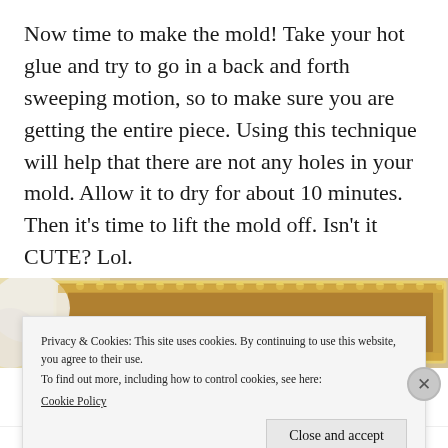Now time to make the mold! Take your hot glue and try to go in a back and forth sweeping motion, so to make sure you are getting the entire piece. Using this technique will help that there are not any holes in your mold. Allow it to dry for about 10 minutes. Then it's time to lift the mold off. Isn't it CUTE? Lol.
[Figure (photo): Partial photo of a decorative golden ornate picture frame on a textured background, partially obscured by a cookie consent banner overlay.]
Privacy & Cookies: This site uses cookies. By continuing to use this website, you agree to their use.
To find out more, including how to control cookies, see here:
Cookie Policy